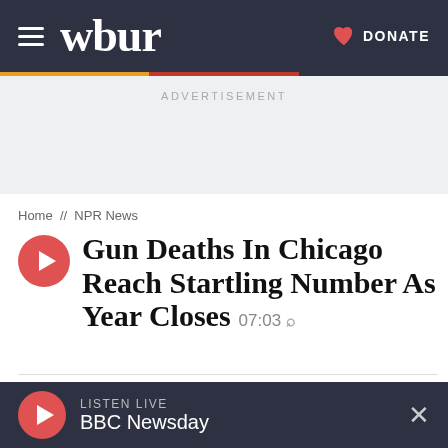wbur   DONATE
ADVERTISEMENT
Home // NPR News
Gun Deaths In Chicago Reach Startling Number As Year Closes  07:03
December 28, 2016   By Miles Bryan
LISTEN LIVE  BBC Newsday